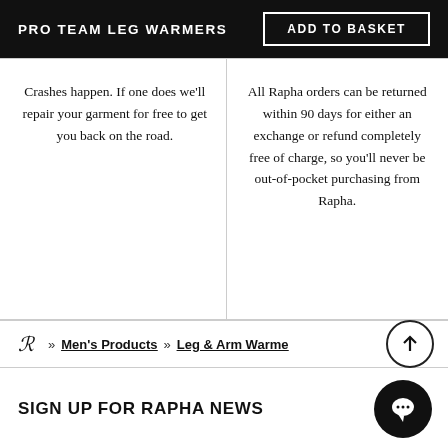PRO TEAM LEG WARMERS
Crashes happen. If one does we'll repair your garment for free to get you back on the road.
All Rapha orders can be returned within 90 days for either an exchange or refund completely free of charge, so you'll never be out-of-pocket purchasing from Rapha.
» Men's Products » Leg & Arm Warme...
SIGN UP FOR RAPHA NEWS